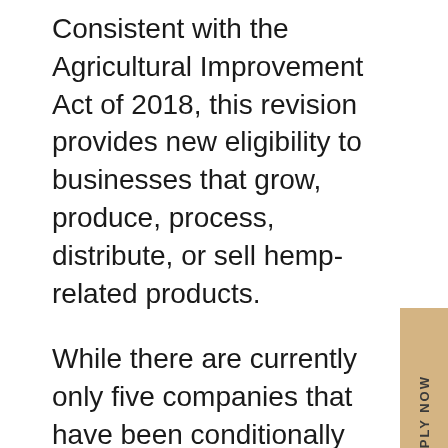Consistent with the Agricultural Improvement Act of 2018, this revision provides new eligibility to businesses that grow, produce, process, distribute, or sell hemp-related products.
While there are currently only five companies that have been conditionally approved to open medical cannabis processing facilities in Virginia, this could expand soon. Also, the North Carolina House of Representative filed a bill in March 2019 to legalize medical marijuana, which could open a number of doors for small businesses.